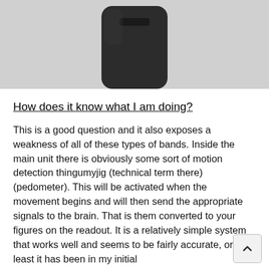[Figure (photo): Photo of a small dark/black fitness tracker or pedometer device on a light grey background, viewed from slightly above.]
How does it know what I am doing?
This is a good question and it also exposes a weakness of all of these types of bands. Inside the main unit there is obviously some sort of motion detection thingumyjig (technical term there) (pedometer). This will be activated when the movement begins and will then send the appropriate signals to the brain. That is them converted to your figures on the readout. It is a relatively simple system that works well and seems to be fairly accurate, or at least it has been in my initial